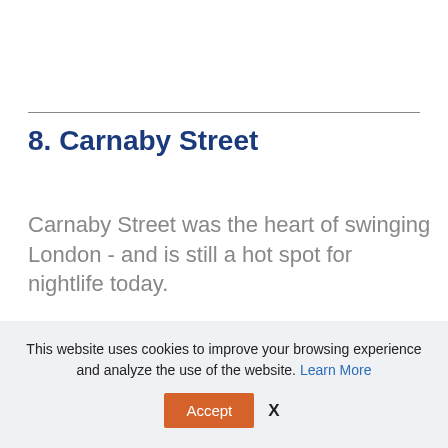8. Carnaby Street
Carnaby Street was the heart of swinging London - and is still a hot spot for nightlife today.
This website uses cookies to improve your browsing experience and analyze the use of the website. Learn More
Accept  X